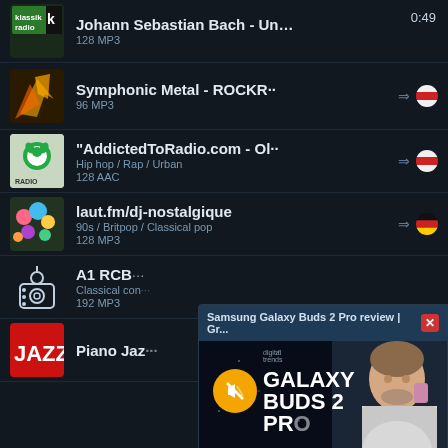[Figure (screenshot): Radio app list screen showing multiple radio stations with thumbnails, titles, bitrates, and country flags. Overlaid with a Samsung Galaxy Buds 2 Pro review video popup in the bottom-right corner.]